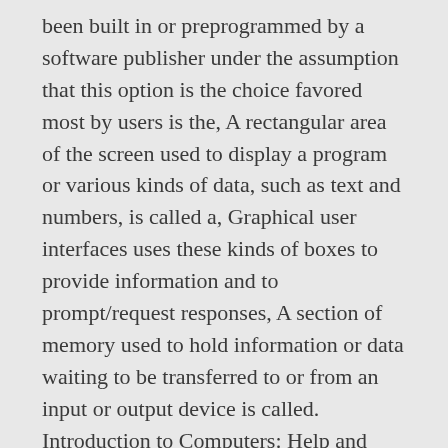been built in or preprogrammed by a software publisher under the assumption that this option is the choice favored most by users is the, A rectangular area of the screen used to display a program or various kinds of data, such as text and numbers, is called a, Graphical user interfaces uses these kinds of boxes to provide information and to prompt/request responses, A section of memory used to hold information or data waiting to be transferred to or from an input or output device is called. Introduction to Computers: Help and Review Chapter Exam Instructions. Which of the following icons represents the text wrap option? The "Insert" tab "Text" group can be used to